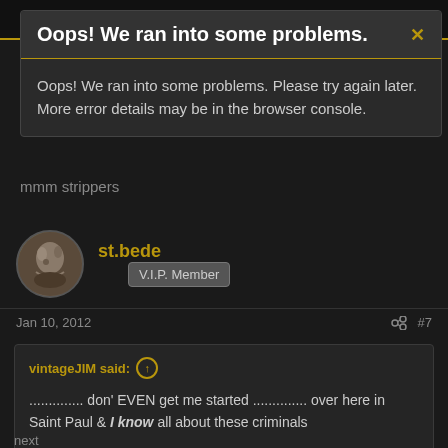Oops! We ran into some problems.
Oops! We ran into some problems. Please try again later. More error details may be in the browser console.
mmm strippers
st.bede
V.I.P. Member
Jan 10, 2012   #7
vintageJIM said:
............. don' EVEN get me started .............. over here in Saint Paul & I know all about these criminals

capitalists, criminals, capitalists, criminals, 🙂 .............. what's the difference 🙂 .............. nothing ..............
next